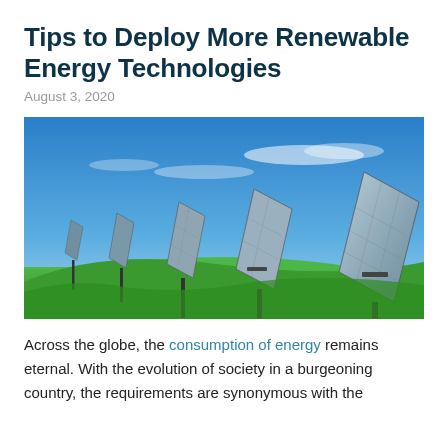Tips to Deploy More Renewable Energy Technologies
August 3, 2020
[Figure (photo): A row of solar panel arrays mounted on poles on a green grassy hillside under a bright blue sky with light clouds.]
Across the globe, the consumption of energy remains eternal. With the evolution of society in a burgeoning country, the requirements are synonymous with the